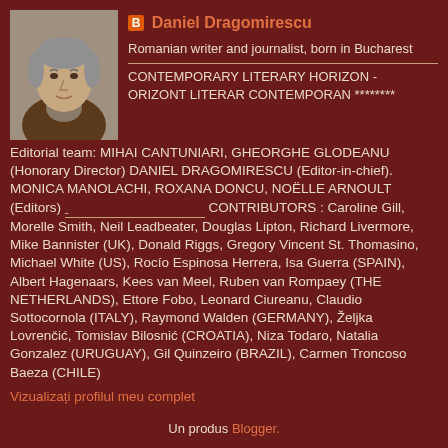[Figure (photo): Portrait photo of Daniel Dragomirescu, a man with gray hair wearing a brown jacket]
Daniel Dragomirescu
Romanian writer and journalist, born in Bucharest
CONTEMPORARY LITERARY HORIZON - ORIZONT LITERAR CONTEMPORAN ********
Editorial team: MIHAI CANTUNIARI, GHEORGHE GLODEANU (Honorary Director) DANIEL DRAGOMIRESCU (Editor-in-chief). MONICA MANOLACHI, ROXANA DONCU, NOËLLE ARNOULT (Editors) ___________________________ CONTRIBUTORS : Caroline Gill, Morelle Smith, Neil Leadbeater, Douglas Lipton, Richard Livermore, Mike Bannister (UK), Donald Riggs, Gregory Vincent St. Thomasino, Michael White (US), Rocío Espinosa Herrera, Isa Guerra (SPAIN), Albert Hagenaars, Kees van Meel, Ruben van Rompaey (THE NETHERLANDS), Ettore Fobo, Leonard Ciureanu, Claudio Sottocornola (ITALY), Raymond Walden (GERMANY), Željka Lovrenčić, Tomislav Bilosnić (CROATIA), Niza Todaro, Natalia Gonzalez (URUGUAY), Gil Quinzeiro (BRAZIL), Carmen Troncoso Baeza (CHILE)
Vizualizați profilul meu complet
Un produs Blogger.